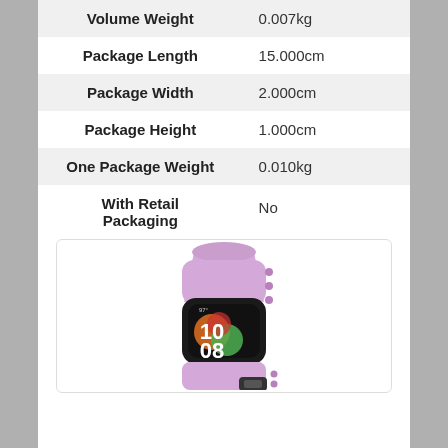| Attribute | Value |
| --- | --- |
| Volume Weight | 0.007kg |
| Package Length | 15.000cm |
| Package Width | 2.000cm |
| Package Height | 1.000cm |
| One Package Weight | 0.010kg |
| With Retail Packaging | No |
[Figure (photo): A fitness tracker / smart band with a black rectangular display showing 10:08 time and colorful watch face, attached to a purple/lavender silicone strap with holes and a black metal buckle.]